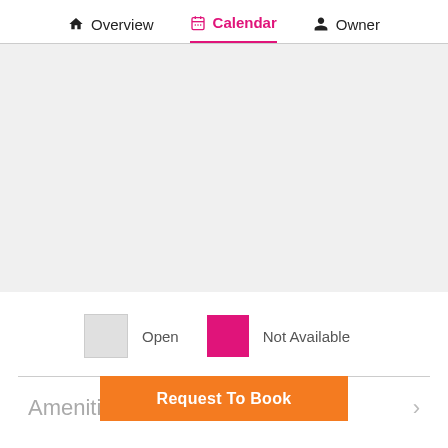Overview  Calendar  Owner
[Figure (other): Calendar availability view area (blank/loading state) with gray background]
Open  Not Available
Amenities
Request To Book